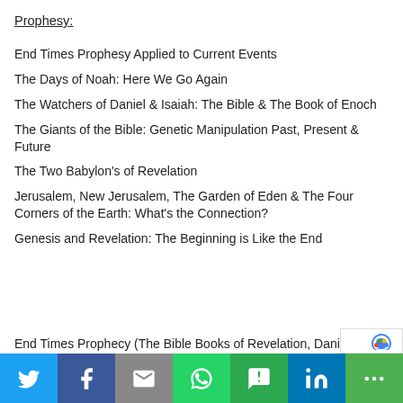Prophesy:
End Times Prophesy Applied to Current Events
The Days of Noah: Here We Go Again
The Watchers of Daniel & Isaiah: The Bible & The Book of Enoch
The Giants of the Bible: Genetic Manipulation Past, Present & Future
The Two Babylon's of Revelation
Jerusalem, New Jerusalem, The Garden of Eden & The Four Corners of the Earth: What's the Connection?
Genesis and Revelation: The Beginning is Like the End
End Times Prophecy (The Bible Books of Revelation, Dani…